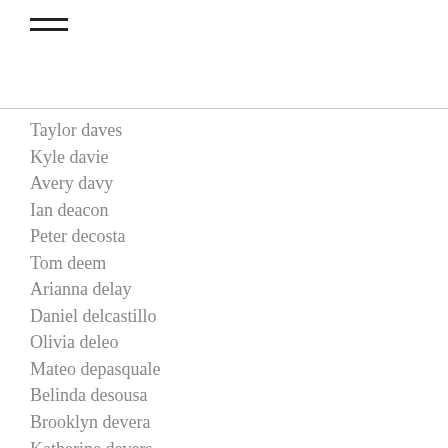≡
Taylor daves
Kyle davie
Avery davy
Ian deacon
Peter decosta
Tom deem
Arianna delay
Daniel delcastillo
Olivia deleo
Mateo depasquale
Belinda desousa
Brooklyn devera
Katherine devers
Patrick dewald
Phil dice
Jonathan didonato
Jason dillow